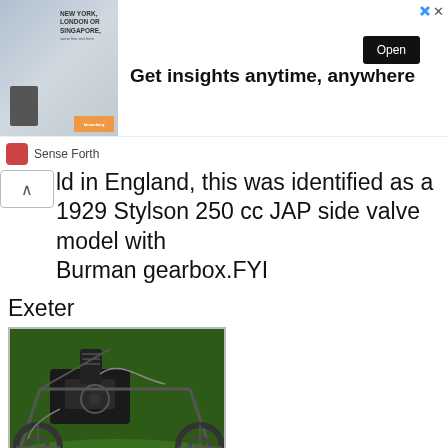[Figure (other): Advertisement banner: man in suit with text 'NEW YORK, LONDON OR SINGAPORE', headline 'Get insights anytime, anywhere', Open button, Sense Forth sponsor logo]
ld in England, this was identified as a 1929 Stylson 250 cc JAP side valve model with Burman gearbox.FYI
Exeter
[Figure (photo): Photograph of a vintage motorcycle engine and frame, the Stylson 1929 250cc JAP, with green grass background]
Stylson 1929 250cc JAP
Fri Dec 16 2005
p-pt at wanadoo.fr
stylson motorcycle